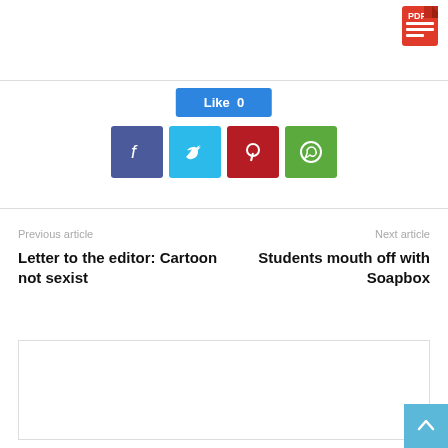[Figure (logo): Red PDF icon in top-right corner]
[Figure (infographic): Like button (blue, count 0) and social sharing icons: Facebook (dark blue), Twitter (light blue), Pinterest (red), WhatsApp (green)]
Previous article
Next article
Letter to the editor: Cartoon not sexist
Students mouth off with Soapbox
[Figure (other): Empty comment/content box with border]